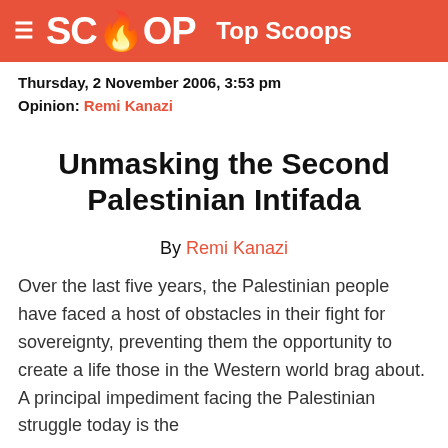≡ SCOOP Top Scoops
Thursday, 2 November 2006, 3:53 pm
Opinion: Remi Kanazi
Unmasking the Second Palestinian Intifada
By Remi Kanazi
Over the last five years, the Palestinian people have faced a host of obstacles in their fight for sovereignty, preventing them the opportunity to create a life those in the Western world brag about. A principal impediment facing the Palestinian struggle today is the